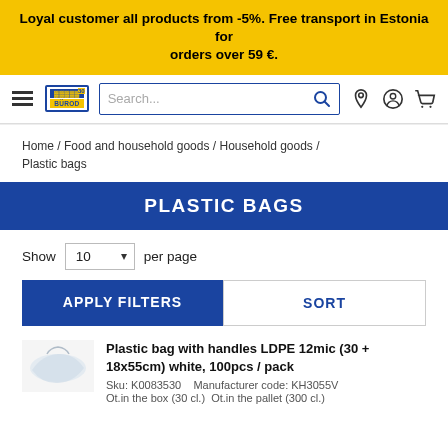Loyal customer all products from -5%. Free transport in Estonia for orders over 59 €.
[Figure (screenshot): Navigation bar with hamburger menu, Bürod 30 logo, search bar, location icon, user icon, and cart icon]
Home / Food and household goods / Household goods / Plastic bags
PLASTIC BAGS
Show 10 per page
APPLY FILTERS
SORT
Plastic bag with handles LDPE 12mic (30 + 18x55cm) white, 100pcs / pack
Sku: K0083530    Manufacturer code: KH3055V
Ot.in the box (30 cl.)  Ot.in the pallet (300 cl.)